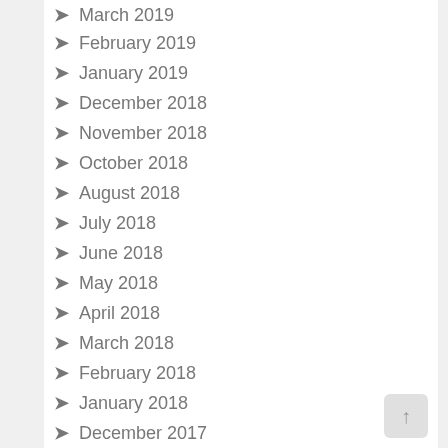March 2019
February 2019
January 2019
December 2018
November 2018
October 2018
August 2018
July 2018
June 2018
May 2018
April 2018
March 2018
February 2018
January 2018
December 2017
November 2017